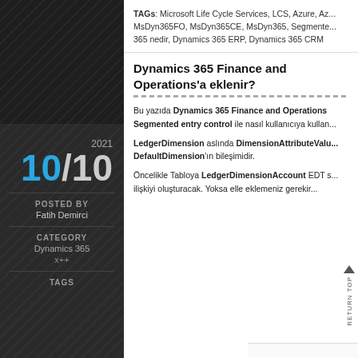TAGs: Microsoft Life Cycle Services, LCS, Azure, Az... MsDyn365FO, MsDyn365CE, MsDyn365, Segmente... 365 nedir, Dynamics 365 ERP, Dynamics 365 CRM
Dynamics 365 Finance and Operations'a eklenir?
Bu yazıda Dynamics 365 Finance and Operations Segmented entry control ile nasıl kullanıcıya kullan...
LedgerDimension aslında DimensionAttributeValu... DefaultDimension'ın bileşimidir.
Öncelikle Tabloya LedgerDimensionAccount EDT s... ilişkiyi oluşturacak. Yoksa elle eklemeniz gerekir...
2021
10/10
POSTED BY
Fatih Demirci
CATEGORY
Dynamics 365
x++
TAGS